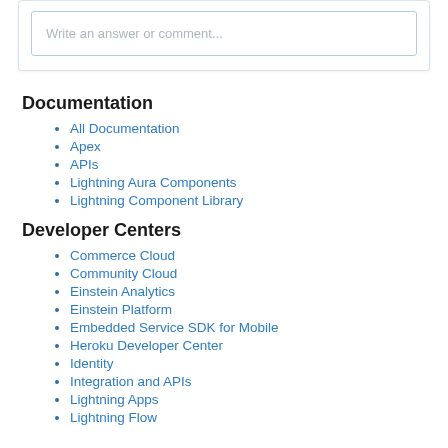Write an answer or comment...
Documentation
All Documentation
Apex
APIs
Lightning Aura Components
Lightning Component Library
Developer Centers
Commerce Cloud
Community Cloud
Einstein Analytics
Einstein Platform
Embedded Service SDK for Mobile
Heroku Developer Center
Identity
Integration and APIs
Lightning Apps
Lightning Flow